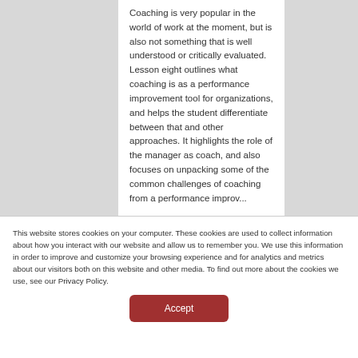Coaching is very popular in the world of work at the moment, but is also not something that is well understood or critically evaluated. Lesson eight outlines what coaching is as a performance improvement tool for organizations, and helps the student differentiate between that and other approaches. It highlights the role of the manager as coach, and also focuses on unpacking some of the common challenges of coaching from a performance improvement...
This website stores cookies on your computer. These cookies are used to collect information about how you interact with our website and allow us to remember you. We use this information in order to improve and customize your browsing experience and for analytics and metrics about our visitors both on this website and other media. To find out more about the cookies we use, see our Privacy Policy.
Accept